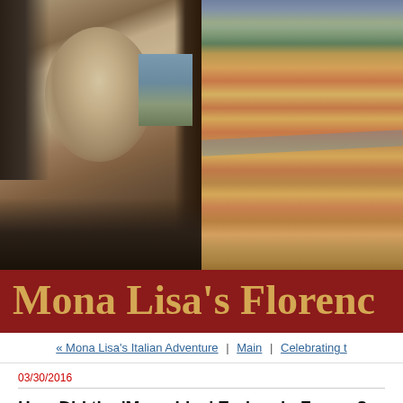[Figure (photo): Two side-by-side images: left is the Mona Lisa painting showing the subject's face and upper body; right is a historical bird's-eye view painting of Florence, Italy, showing the city with red-roofed buildings, a river, and surrounding hills.]
Mona Lisa's Florenc
« Mona Lisa's Italian Adventure | Main | Celebrating t
03/30/2016
How Did the 'Mona Lisa' End up in France?
This article was originally published in The Italian Tribune: